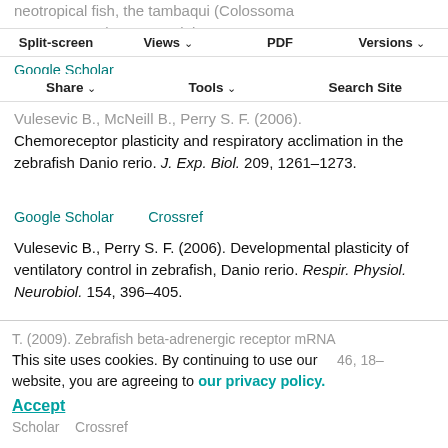neotropical fish, the tambaqui (Colossoma macropomum). J. Exp. Biol. 203, 1223–1239.
Google Scholar
Vulesevic B., McNeill B., Perry S. F. (2006).
Chemoreceptor plasticity and respiratory acclimation in the zebrafish Danio rerio. J. Exp. Biol. 209, 1261–1273.
Google Scholar    Crossref
Vulesevic B., Perry S. F. (2006). Developmental plasticity of ventilatory control in zebrafish, Danio rerio. Respir. Physiol. Neurobiol. 154, 396–405.
Google Scholar    Crossref
Wang Z., Nishimura Y., Shimada Y., Umemoto N., Hirano M., Zang L., Oka T., Sakamoto C., Kuroyanagi J., Tanaka T. (2009). Zebrafish beta-adrenergic receptor mRNA ... 46, 18–...
This site uses cookies. By continuing to use our website, you are agreeing to our privacy policy. Accept